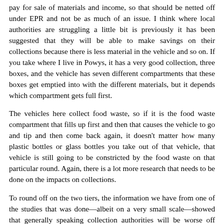pay for sale of materials and income, so that should be netted off under EPR and not be as much of an issue. I think where local authorities are struggling a little bit is previously it has been suggested that they will be able to make savings on their collections because there is less material in the vehicle and so on. If you take where I live in Powys, it has a very good collection, three boxes, and the vehicle has seven different compartments that these boxes get emptied into with the different materials, but it depends which compartment gets full first.
The vehicles here collect food waste, so if it is the food waste compartment that fills up first and then that causes the vehicle to go and tip and then come back again, it doesn't matter how many plastic bottles or glass bottles you take out of that vehicle, that vehicle is still going to be constricted by the food waste on that particular round. Again, there is a lot more research that needs to be done on the impacts on collections.
To round off on the two tiers, the information we have from one of the studies that was done—albeit on a very small scale—showed that generally speaking collection authorities will be worse off under DRS, their costs will increase and they will not realise savings. Then the WDAs, the waste disposal authorities or the county councils, will be better off because their costs are all associated with the disposal of the waste. In theory, if you see higher recycling, there will be less in the residual. When you look at whether the tiers will recombine at any time, there may